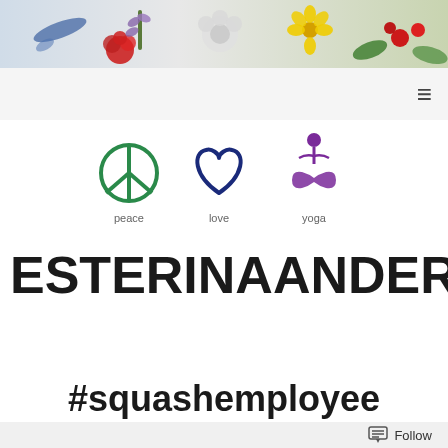[Figure (photo): Decorative floral header banner with colorful flowers (yellow, red, blue) on a light background]
[Figure (logo): Three icons representing peace (green peace symbol), love (blue heart outline), and yoga (purple figure in yoga pose with infinity symbol), each labeled below]
ESTERINAANDERSON.COM
#squashemployee
Follow